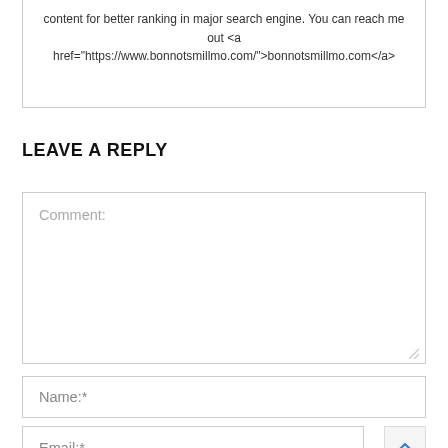content for better ranking in major search engine. You can reach me out <a href="https://www.bonnotsmillmo.com/">bonnotsmillmo.com</a>
LEAVE A REPLY
Comment:
Name:*
Email:*